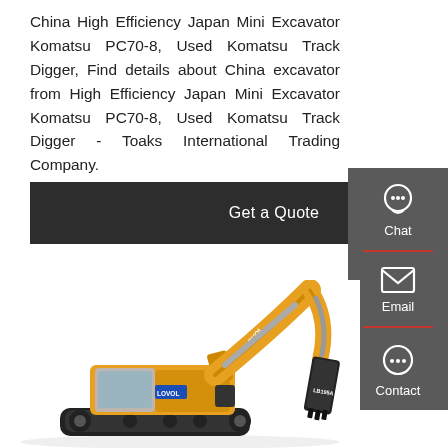China High Efficiency Japan Mini Excavator Komatsu PC70-8, Used Komatsu Track Digger, Find details about China excavator from High Efficiency Japan Mini Excavator Komatsu PC70-8, Used Komatsu Track Digger - Toaks International Trading Company.
[Figure (other): Dark button with text 'Get a Quote']
[Figure (other): Sidebar with Chat, Email, Contact icons on dark grey background]
[Figure (photo): Photo of a yellow Lovol excavator with hydraulic arm raised, model LB195A visible on attachment]